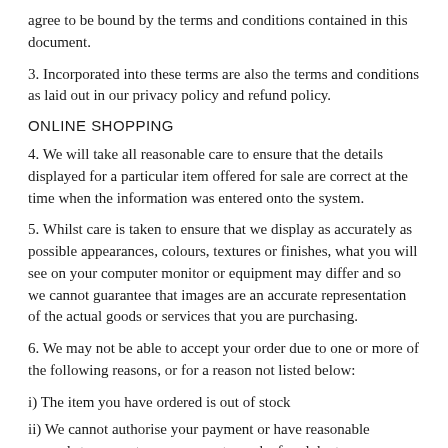agree to be bound by the terms and conditions contained in this document.
3. Incorporated into these terms are also the terms and conditions as laid out in our privacy policy and refund policy.
ONLINE SHOPPING
4. We will take all reasonable care to ensure that the details displayed for a particular item offered for sale are correct at the time when the information was entered onto the system.
5. Whilst care is taken to ensure that we display as accurately as possible appearances, colours, textures or finishes, what you will see on your computer monitor or equipment may differ and so we cannot guarantee that images are an accurate representation of the actual goods or services that you are purchasing.
6. We may not be able to accept your order due to one or more of the following reasons, or for a reason not listed below:
i) The item you have ordered is out of stock
ii) We cannot authorise your payment or have reasonable grounds to suspect your payment may be fraudulent
iii) There has been a pricing or product description error